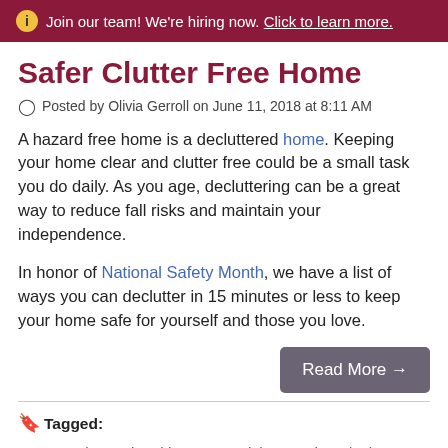Join our team! We're hiring now. Click to learn more.
Safer Clutter Free Home
Posted by Olivia Gerroll on June 11, 2018 at 8:11 AM
A hazard free home is a decluttered home. Keeping your home clear and clutter free could be a small task you do daily. As you age, decluttering can be a great way to reduce fall risks and maintain your independence.
In honor of National Safety Month, we have a list of ways you can declutter in 15 minutes or less to keep your home safe for yourself and those you love.
Read More →
Tagged: Estate Sale, senior citizen, Organizing, sorting, declutter, National Safety Month, seniors, safe, clutter